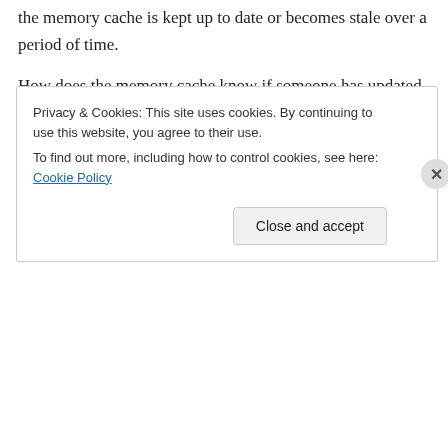the memory cache is kept up to date or becomes stale over a period of time.

How does the memory cache know if someone has updated the data via another process or directly from the database?

My main point is the cache just a snapshot at a given time or does it keep a real-time update which would make it very powerful.
Like
Privacy & Cookies: This site uses cookies. By continuing to use this website, you agree to their use.
To find out more, including how to control cookies, see here: Cookie Policy